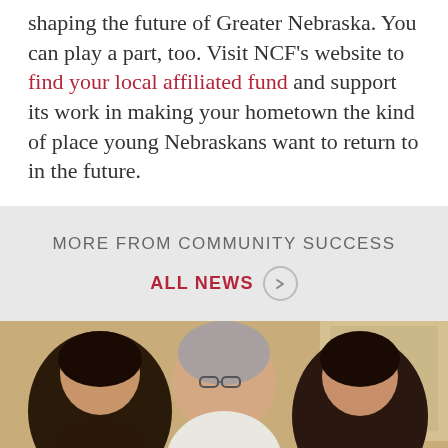shaping the future of Greater Nebraska. You can play a part, too. Visit NCF's website to find your local affiliated fund and support its work in making your hometown the kind of place young Nebraskans want to return to in the future.
MORE FROM COMMUNITY SUCCESS
ALL NEWS →
[Figure (photo): Three people gathered together, an older woman with gray hair and glasses leaning over between two younger dark-haired women, appearing to look at something together in an indoor setting.]